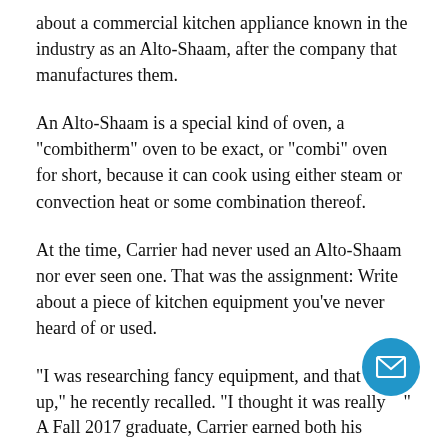about a commercial kitchen appliance known in the industry as an Alto-Shaam, after the company that manufactures them.
An Alto-Shaam is a special kind of oven, a "combitherm" oven to be exact, or "combi" oven for short, because it can cook using either steam or convection heat or some combination thereof.
At the time, Carrier had never used an Alto-Shaam nor ever seen one. That was the assignment: Write about a piece of kitchen equipment you've never heard of or used.
"I was researching fancy equipment, and that came up," he recently recalled. "I thought it was really…"
A Fall 2017 graduate, Carrier earned both his…